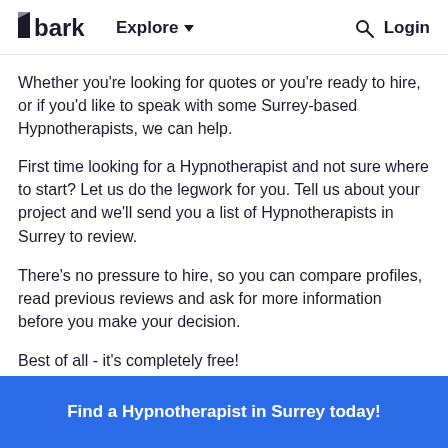bark  Explore  Login
Whether you're looking for quotes or you're ready to hire, or if you'd like to speak with some Surrey-based Hypnotherapists, we can help.
First time looking for a Hypnotherapist and not sure where to start? Let us do the legwork for you. Tell us about your project and we'll send you a list of Hypnotherapists in Surrey to review.
There's no pressure to hire, so you can compare profiles, read previous reviews and ask for more information before you make your decision.
Best of all - it's completely free!
Find a Hypnotherapist in Surrey today!